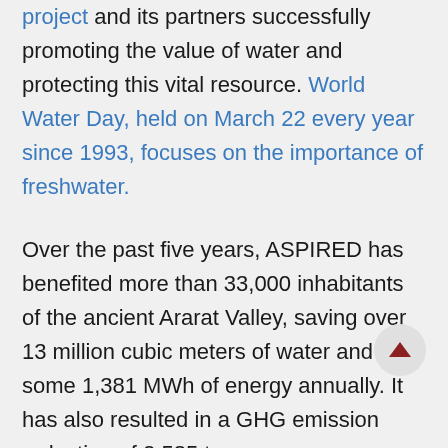project and its partners successfully promoting the value of water and protecting this vital resource. World Water Day, held on March 22 every year since 1993, focuses on the importance of freshwater.
Over the past five years, ASPIRED has benefited more than 33,000 inhabitants of the ancient Ararat Valley, saving over 13 million cubic meters of water and some 1,381 MWh of energy annually. It has also resulted in a GHG emission reduction of 2,585 tons per year.
“Every piece of land is valuable in the